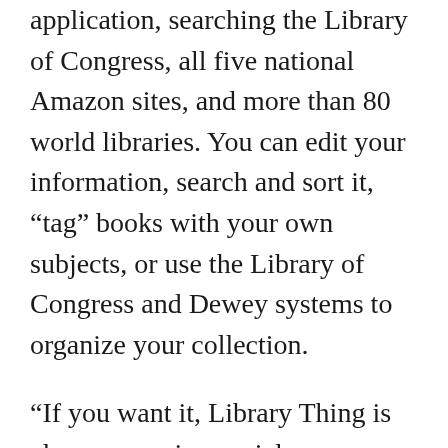Library Thing is a full-powered cataloging application, searching the Library of Congress, all five national Amazon sites, and more than 80 world libraries. You can edit your information, search and sort it, "tag" books with your own subjects, or use the Library of Congress and Dewey systems to organize your collection.
“If you want it, Library Thing is also an amazing social space, often described as “My Space for books” or “Facebook for books.” You can check out other people’s libraries, see who has the most similar library to yours, swap reading suggestions and so forth. Library Thing also